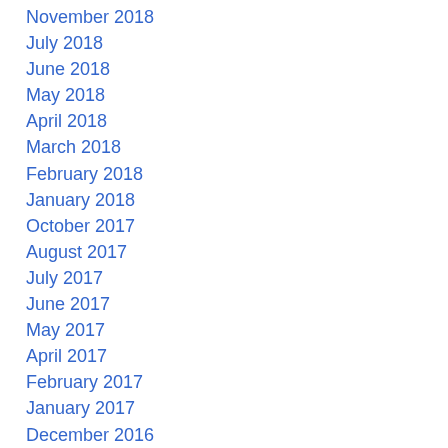November 2018
July 2018
June 2018
May 2018
April 2018
March 2018
February 2018
January 2018
October 2017
August 2017
July 2017
June 2017
May 2017
April 2017
February 2017
January 2017
December 2016
November 2016
October 2016
August 2016
July 2016